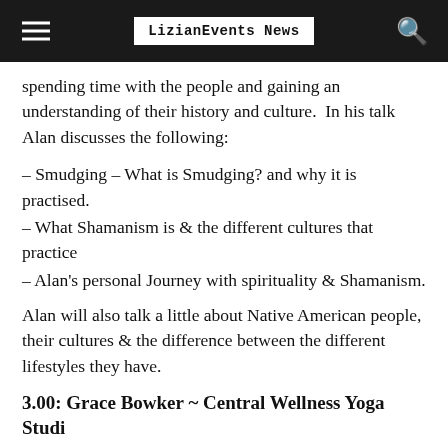LizianEvents News
spending time with the people and gaining an understanding of their history and culture.  In his talk Alan discusses the following:
– Smudging – What is Smudging? and why it is practised.
– What Shamanism is & the different cultures that practice
– Alan's personal Journey with spirituality & Shamanism.
Alan will also talk a little about Native American people, their cultures & the difference between the different lifestyles they have.
3.00: Grace Bowker ~ Central Wellness Yoga Studi…